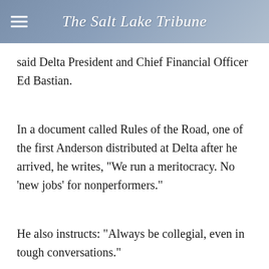The Salt Lake Tribune
said Delta President and Chief Financial Officer Ed Bastian.
In a document called Rules of the Road, one of the first Anderson distributed at Delta after he arrived, he writes, "We run a meritocracy. No 'new jobs' for nonperformers."
He also instructs: "Always be collegial, even in tough conversations."